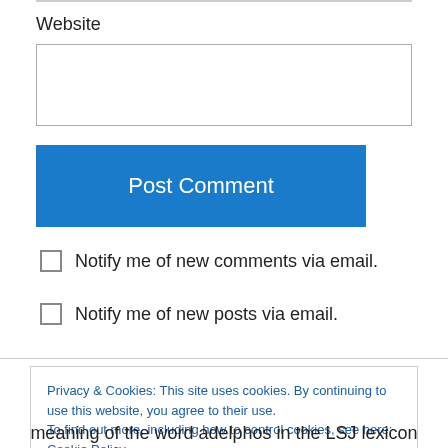Website
Post Comment
Notify me of new comments via email.
Notify me of new posts via email.
Privacy & Cookies: This site uses cookies. By continuing to use this website, you agree to their use. To find out more, including how to control cookies, see here: Cookie Policy
Close and accept
meaning of the word adelphos in the LSJ lexicon